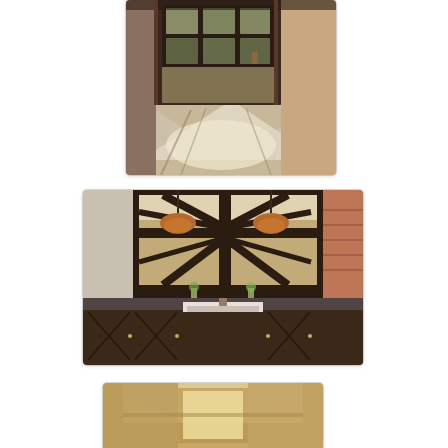[Figure (photo): Interior hallway with tall dark wood and glass paneled front door, checkered black and white tile floor, sunlight casting geometric shadows, warm brown walls]
[Figure (photo): Rustic kitchen interior with dark wood cabinetry, farmhouse sink, stone/white textured walls, exposed wooden beam trusses above large window, two hanging copper pendant lights, stone wall visible outside window, vases with flowers on counter]
[Figure (photo): Interior room with white walls, arched ceiling, warm golden light, partial view of doorway or window]